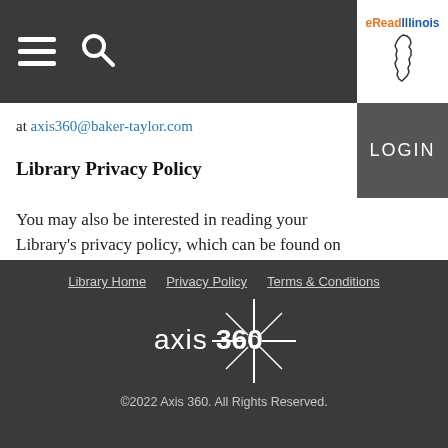eReadIllinois — navigation bar with hamburger menu, search icon, logo, and LOGIN button
at axis360@baker-taylor.com
Library Privacy Policy
You may also be interested in reading your Library's privacy policy, which can be found on your Library's website.
Library Home  Privacy Policy  Terms & Conditions
axis360
©2022 Axis 360. All Rights Reserved.